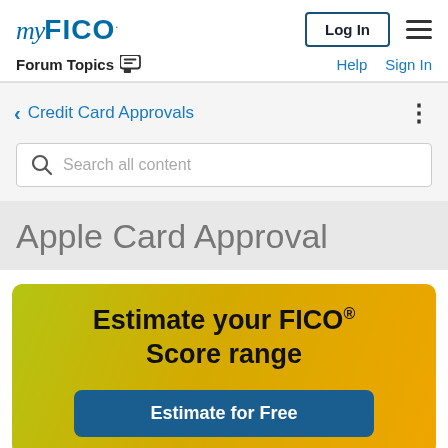myFICO | Log In | Help | Sign In | Forum Topics
< Credit Card Approvals
Search all content
Apple Card Approval
[Figure (infographic): Promotional banner with gradient background (yellow-green to orange) showing text 'Estimate your FICO® Score range' and a blue button 'Estimate for Free']